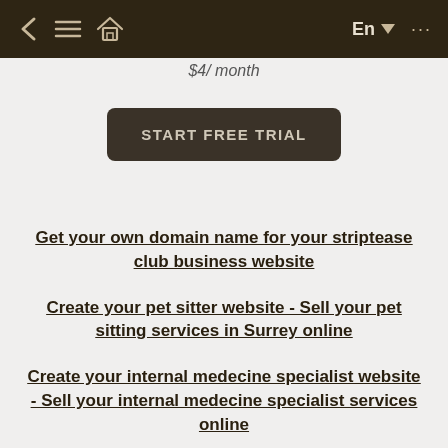< ≡ 🏠  En ▼ ...
$4/ month
START FREE TRIAL
Get your own domain name for your striptease club business website
Create your pet sitter website - Sell your pet sitting services in Surrey online
Create your internal medecine specialist website - Sell your internal medecine specialist services online